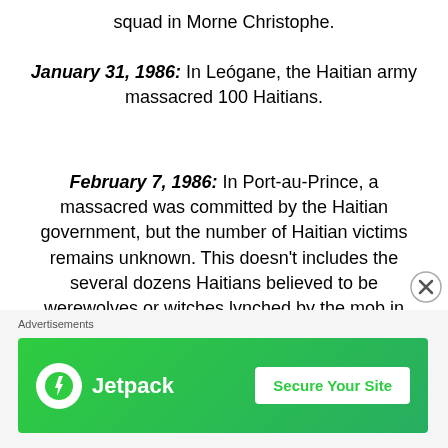squad in Morne Christophe.
January 31, 1986: In Leógane, the Haitian army massacred 100 Haitians.
February 7, 1986: In Port-au-Prince, a massacred was committed by the Haitian government, but the number of Haitian victims remains unknown. This doesn't includes the several dozens Haitians believed to be werewolves or witches lynched by the mob in this same year.
April 26, 1986 "The Fort-Dimanche Massacre": The Haitian army massacred at most 15 Haitians who were protesting.
July 1 – 3, 1987: In Port-au-Prince, the Haitian army
[Figure (other): Jetpack advertisement banner with green background, Jetpack logo (white circle with lightning bolt), and 'Secure Your Site' button]